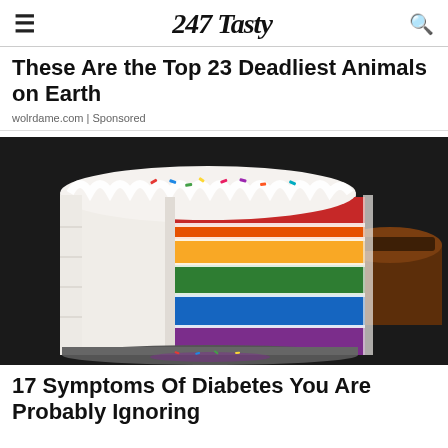247 Tasty
These Are the Top 23 Deadliest Animals on Earth
wolrdame.com | Sponsored
[Figure (photo): A rainbow layer cake with white frosting, sliced to reveal colorful layers (red, orange, yellow, green, blue, purple) with sprinkles on top, on a dark background with a chocolate cake partially visible on the right.]
17 Symptoms Of Diabetes You Are Probably Ignoring